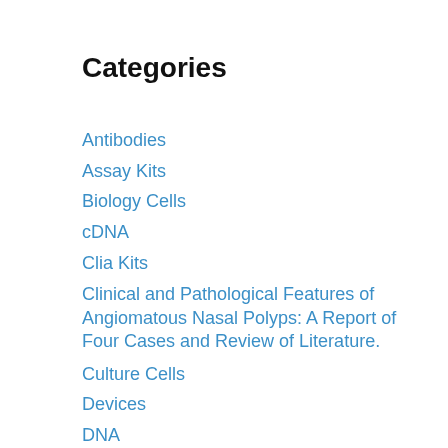Categories
Antibodies
Assay Kits
Biology Cells
cDNA
Clia Kits
Clinical and Pathological Features of Angiomatous Nasal Polyps: A Report of Four Cases and Review of Literature.
Culture Cells
Devices
DNA
DNA Templates